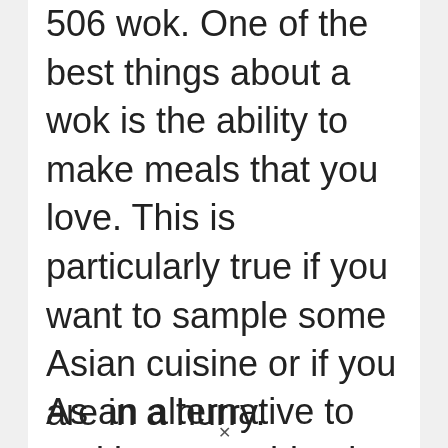506 wok. One of the best things about a wok is the ability to make meals that you love. This is particularly true if you want to sample some Asian cuisine or if you are in a hurry.
[Figure (screenshot): Video player overlay showing 'Review of the Aroma Housewares AEW-...' with 'No compatible source was found for this media.' message. Background shows a wok with vegetables. An advertisement banner for Pure Earth is visible overlaid on the bottom portion.]
As an alternative to making something in
×